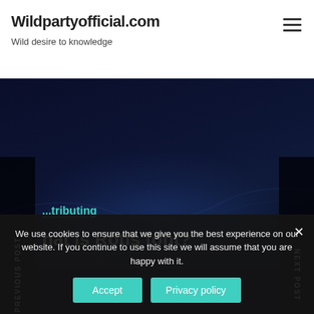Wildpartyofficial.com
Wild desire to knowledge
[Figure (screenshot): Website hero image with dark navy blue background featuring subtle wave/particle effects, with 'PREVIOUS POST' vertical text on left sidebar and 'NEXT POST' vertical text on right sidebar. Overlaid text includes a teal category link '...tributing', and white bold title text 'hat is Rotis font?']
We use cookies to ensure that we give you the best experience on our website. If you continue to use this site we will assume that you are happy with it.